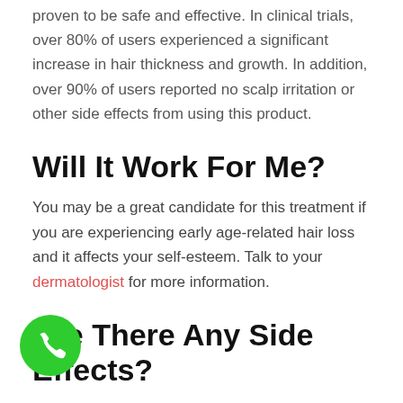proven to be safe and effective. In clinical trials, over 80% of users experienced a significant increase in hair thickness and growth. In addition, over 90% of users reported no scalp irritation or other side effects from using this product.
Will It Work For Me?
You may be a great candidate for this treatment if you are experiencing early age-related hair loss and it affects your self-esteem. Talk to your dermatologist for more information.
Are There Any Side Effects?
Because PepFactor is made from natural ingredients, it is very safe for you to use. There are no reported side